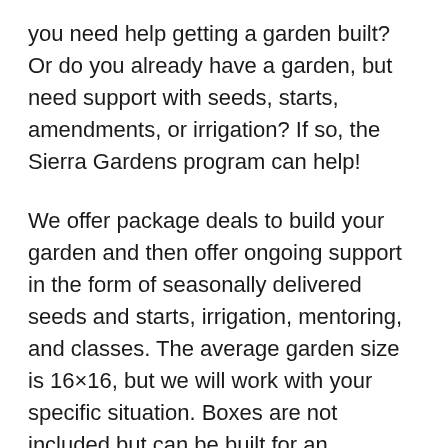you need help getting a garden built? Or do you already have a garden, but need support with seeds, starts, amendments, or irrigation? If so, the Sierra Gardens program can help!
We offer package deals to build your garden and then offer ongoing support in the form of seasonally delivered seeds and starts, irrigation, mentoring, and classes. The average garden size is 16×16, but we will work with your specific situation. Boxes are not included but can be built for an additional cost. The satisfaction of having a garden goes beyond having fresh